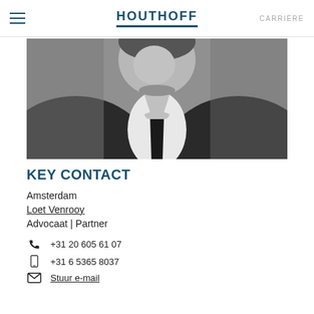HOUTHOFF | CARRIÈRE
[Figure (photo): Black and white portrait photo of a man in a dark suit with a white shirt and dark tie, cropped at the chest/shoulders level.]
KEY CONTACT
Amsterdam
Loet Venrooy
Advocaat | Partner
+31 20 605 61 07
+31 6 5365 8037
Stuur e-mail